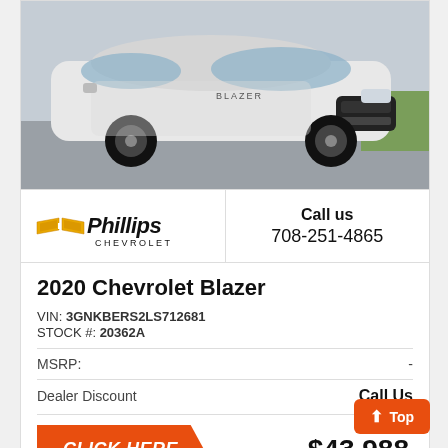[Figure (photo): White Chevrolet Blazer SUV parked in a lot, photographed from the front-left angle.]
[Figure (logo): Phillips Chevrolet dealership logo with gold bowtie icon and italic black text.]
Call us
708-251-4865
2020 Chevrolet Blazer
VIN: 3GNKBERS2LS712681
STOCK #: 20362A
MSRP:	-
Dealer Discount	Call Us
$43,988